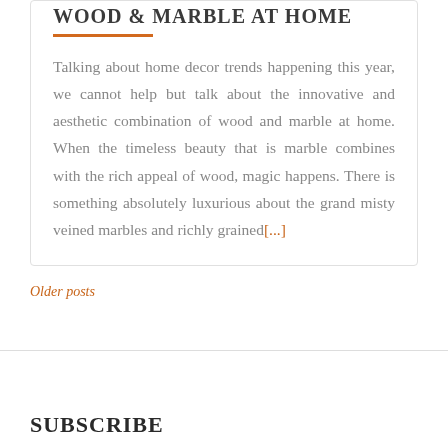WOOD & MARBLE AT HOME
Talking about home decor trends happening this year, we cannot help but talk about the innovative and aesthetic combination of wood and marble at home. When the timeless beauty that is marble combines with the rich appeal of wood, magic happens. There is something absolutely luxurious about the grand misty veined marbles and richly grained[...]
Older posts
SUBSCRIBE